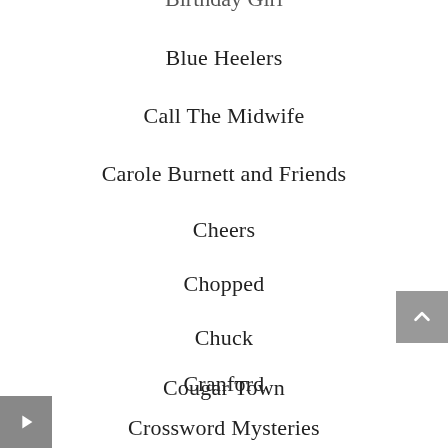Birthday Girl
Blue Heelers
Call The Midwife
Carole Burnett and Friends
Cheers
Chopped
Chuck
Cougar Town
Cranford
Crossword Mysteries